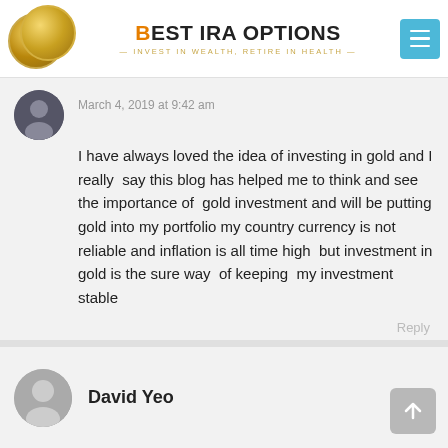BEST IRA OPTIONS — INVEST IN WEALTH, RETIRE IN HEALTH —
March 4, 2019 at 9:42 am
I have always loved the idea of investing in gold and I really  say this blog has helped me to think and see the importance of  gold investment and will be putting gold into my portfolio my country currency is not reliable and inflation is all time high  but investment in gold is the sure way  of keeping  my investment stable
Reply
David Yeo